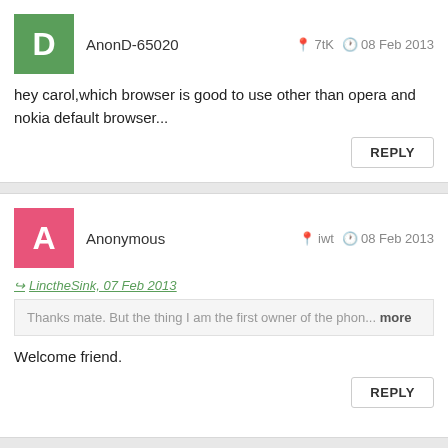AnonD-65020 — 7tK — 08 Feb 2013
hey carol,which browser is good to use other than opera and nokia default browser...
REPLY
Anonymous — iwt — 08 Feb 2013
LinctheSink, 07 Feb 2013
Thanks mate. But the thing I am the first owner of the phon... more
Welcome friend.
REPLY